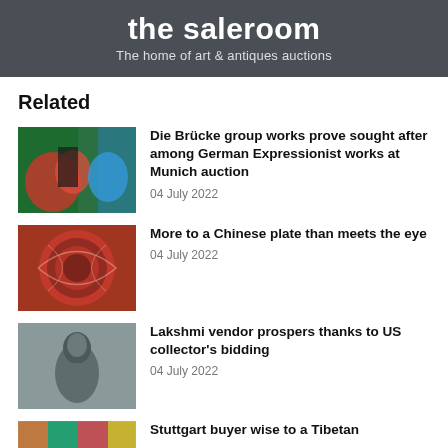[Figure (logo): The Saleroom logo: dark grey banner with 'the saleroom' in large white bold text and 'The home of art & antiques auctions' in smaller white text below]
Related
[Figure (photo): Colorful expressionist painting showing a figure with red and blue tones on green background]
Die Brücke group works prove sought after among German Expressionist works at Munich auction
04 July 2022
[Figure (photo): Close-up of a copper/red Chinese decorative plate with intricate engraved patterns]
More to a Chinese plate than meets the eye
04 July 2022
[Figure (photo): Bronze statue of Lakshmi deity against grey background]
Lakshmi vendor prospers thanks to US collector's bidding
04 July 2022
[Figure (photo): Tibetan artifact with colorful decorative patterns in blue, orange and green]
Stuttgart buyer wise to a Tibetan